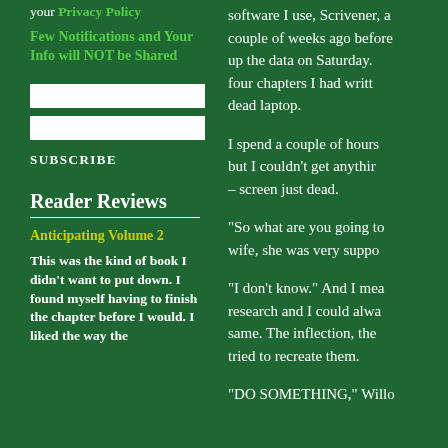your Privacy Policy
Few Notifications and Your Info will NOT be Shared
SUBSCRIBE
Reader Reviews
Anticipating Volume 2
This was the kind of book I didn't want to put down. I found myself having to finish the chapter before I would. I liked the way the
software I use, Scrivener, a couple of weeks ago before up the data on Saturday. four chapters I had written dead laptop.
I spend a couple of hours but I couldn't get anything – screen just dead.
"So what are you going to wife, she was very suppo
"I don't know." And I mea research and I could alwa same. The inflection, the tried to recreate them.
"DO SOMETHING," Willo